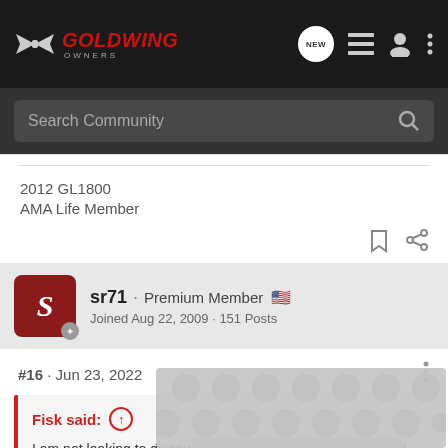[Figure (screenshot): GoldWing Owners community forum screenshot showing navigation bar with logo, search bar, user post with avatar for sr71, post #16 dated Jun 23, 2022, and a quote block from Fisk about americade]
GOLDWING OWNERS - Search Community
2012 GL1800
AMA Life Member
sr71 · Premium Member
Joined Aug 22, 2009 · 151 Posts
#16 · Jun 23, 2022
Fisk said:
I am not looking to discourage americade because I am glad it's there f... ems like it m... d the